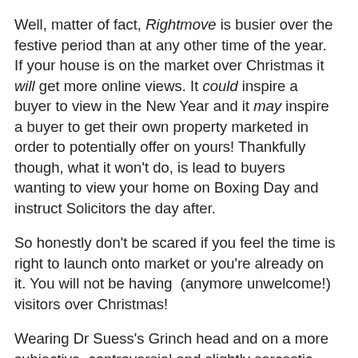Well, matter of fact, Rightmove is busier over the festive period than at any other time of the year. If your house is on the market over Christmas it will get more online views. It could inspire a buyer to view in the New Year and it may inspire a buyer to get their own property marketed in order to potentially offer on yours! Thankfully though, what it won't do, is lead to buyers wanting to view your home on Boxing Day and instruct Solicitors the day after.
So honestly don't be scared if you feel the time is right to launch onto market or you're already on it. You will not be having  (anymore unwelcome!) visitors over Christmas!
Wearing Dr Suess's Grinch head and on a more subjective, controversial and slightly sarcastic note I wanted to throw down the gauntlet to any and all of our erstwhile competition!
In 2018 I would love the opportunity to sit down with George and Nick and talk about the virtues of another agents